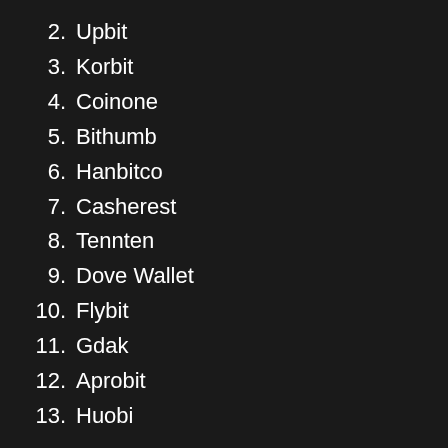2. Upbit
3. Korbit
4. Coinone
5. Bithumb
6. Hanbitco
7. Casherest
8. Tennten
9. Dove Wallet
10. Flybit
11. Gdak
12. Aprobit
13. Huobi